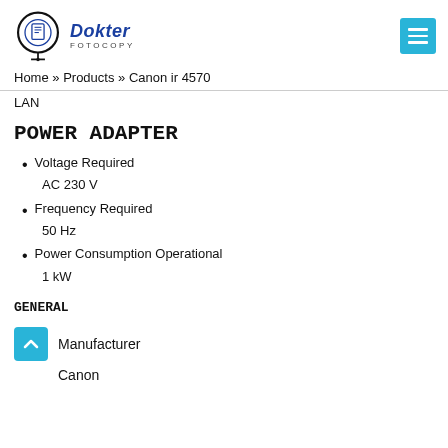Dokter FOTOCOPY — logo and navigation header
Home » Products » Canon ir 4570
LAN
POWER ADAPTER
Voltage Required
AC 230 V
Frequency Required
50 Hz
Power Consumption Operational
1 kW
GENERAL
Manufacturer
Canon